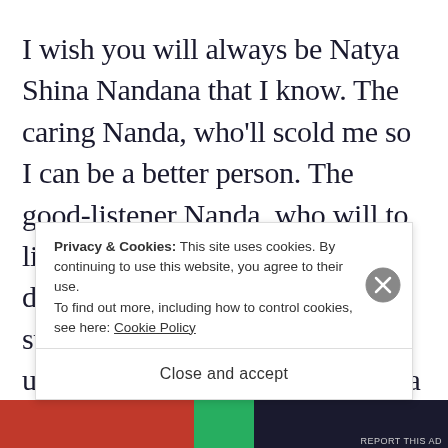I wish you will always be Natya Shina Nandana that I know. The caring Nanda, who'll scold me so I can be a better person. The good-listener Nanda, who will to listen to all my stories. The delighter Nanda, who always successfully turns my frown upside-down. The optimist Nanda...
Privacy & Cookies: This site uses cookies. By continuing to use this website, you agree to their use.
To find out more, including how to control cookies, see here: Cookie Policy
Close and accept